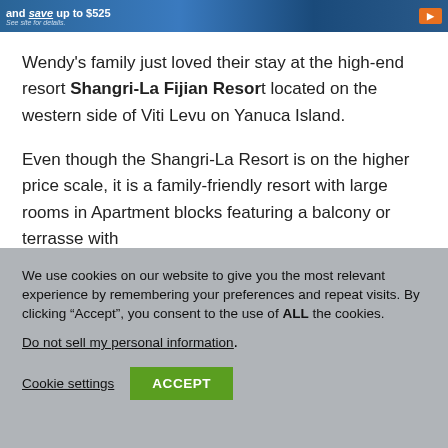[Figure (screenshot): Website advertisement banner showing text 'and save up to $525' with 'See site for details' below, and an orange button on the right, on a blue background.]
Wendy's family just loved their stay at the high-end resort Shangri-La Fijian Resort located on the western side of Viti Levu on Yanuca Island.
Even though the Shangri-La Resort is on the higher price scale, it is a family-friendly resort with large rooms in Apartment blocks featuring a balcony or terrasse with
We use cookies on our website to give you the most relevant experience by remembering your preferences and repeat visits. By clicking “Accept”, you consent to the use of ALL the cookies.
Do not sell my personal information.
Cookie settings
ACCEPT